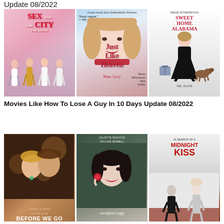Update 08/2022
[Figure (photo): Three movie posters: Sex and the City The Movie, Just Like Heaven, Sweet Home Alabama]
Movies Like How To Lose A Guy In 10 Days Update 08/2022
[Figure (photo): Three movie posters: Before We Go, Certified Copy, In Search of a Midnight Kiss]